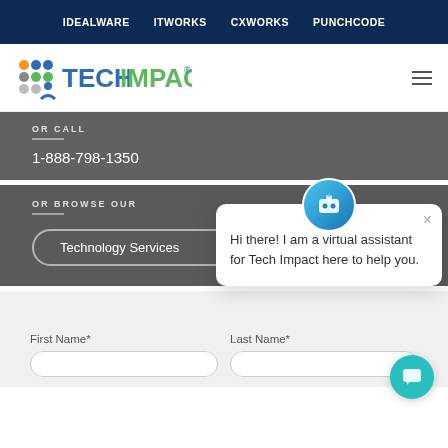IDEALWARE   ITWORKS   CXWORKS   PUNCHCODE
[Figure (logo): Tech Impact logo with colorful dots icon and TECHIMPACT text in blue and green]
OR CALL
1-888-798-1350
OR BROWSE OUR
Technology Services
Hi there! I am a virtual assistant for Tech Impact here to help you.
First Name*
Last Name*